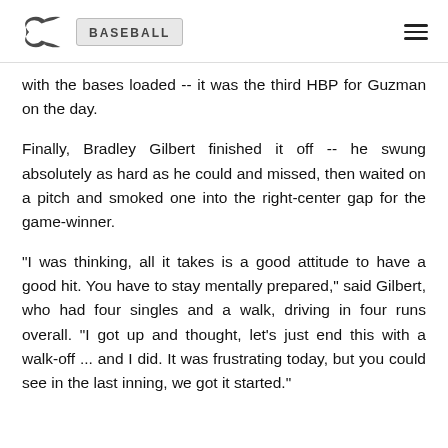C BASEBALL
with the bases loaded -- it was the third HBP for Guzman on the day.
Finally, Bradley Gilbert finished it off -- he swung absolutely as hard as he could and missed, then waited on a pitch and smoked one into the right-center gap for the game-winner.
"I was thinking, all it takes is a good attitude to have a good hit. You have to stay mentally prepared," said Gilbert, who had four singles and a walk, driving in four runs overall. "I got up and thought, let's just end this with a walk-off ... and I did. It was frustrating today, but you could see in the last inning, we got it started."